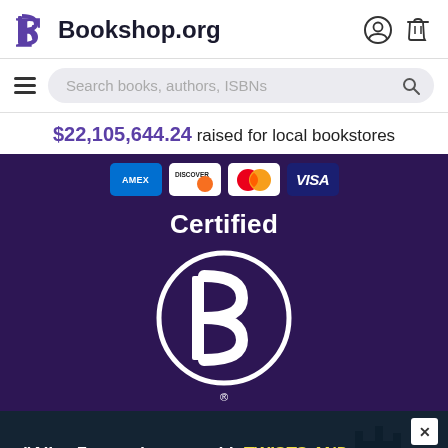Bookshop.org
Search books, authors, ISBNs
$22,105,644.24 raised for local bookstores
[Figure (logo): Payment card logos: AMEX, Discover, Mastercard, Visa on purple background]
[Figure (logo): Certified B Corporation logo — white circle with B on purple background. Registered trademark symbol below.]
[Figure (illustration): Ad banner showing a moody coastal castle scene with text: "Alice Feeney is great with TWISTS AND TURNS." — HARLAN COBEN]